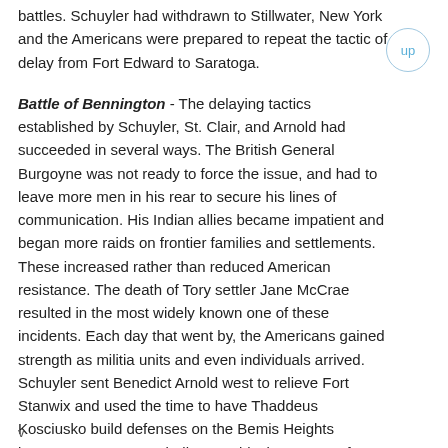battles. Schuyler had withdrawn to Stillwater, New York and the Americans were prepared to repeat the tactic of delay from Fort Edward to Saratoga.
Battle of Bennington - The delaying tactics established by Schuyler, St. Clair, and Arnold had succeeded in several ways. The British General Burgoyne was not ready to force the issue, and had to leave more men in his rear to secure his lines of communication. His Indian allies became impatient and began more raids on frontier families and settlements. These increased rather than reduced American resistance. The death of Tory settler Jane McCrae resulted in the most widely known one of these incidents. Each day that went by, the Americans gained strength as militia units and even individuals arrived. Schuyler sent Benedict Arnold west to relieve Fort Stanwix and used the time to have Thaddeus Kosciusko build defenses on the Bemis Heights between Saratoga and Albany to block Burgoyne from
v